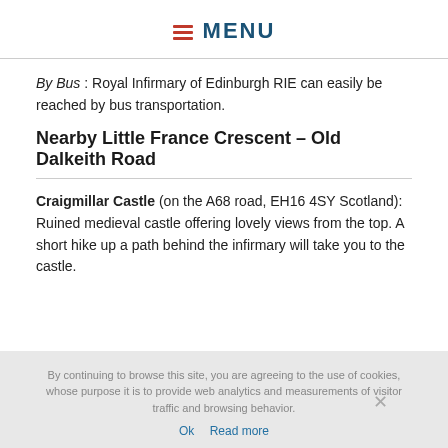MENU
By Bus : Royal Infirmary of Edinburgh RIE can easily be reached by bus transportation.
Nearby Little France Crescent – Old Dalkeith Road
Craigmillar Castle (on the A68 road, EH16 4SY Scotland): Ruined medieval castle offering lovely views from the top. A short hike up a path behind the infirmary will take you to the castle.
By continuing to browse this site, you are agreeing to the use of cookies, whose purpose it is to provide web analytics and measurements of visitor traffic and browsing behavior. Ok Read more